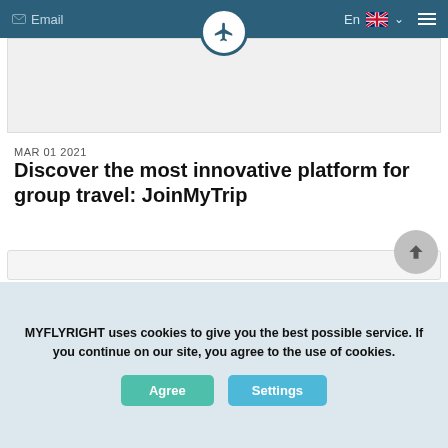Email | En | [UK flag] | Menu
[Figure (photo): Website header image placeholder area (grey box)]
MAR 01 2021
Discover the most innovative platform for group travel: JoinMyTrip
JoinMyTrip is a platform for private group travel. On JoinMyTrip, travellers plan and share the most exciting experiences of the year: their trips. These trips are so special because they are experienced with others. Read more about the concept in this article.
MYFLYRIGHT uses cookies to give you the best possible service. If you continue on our site, you agree to the use of cookies.